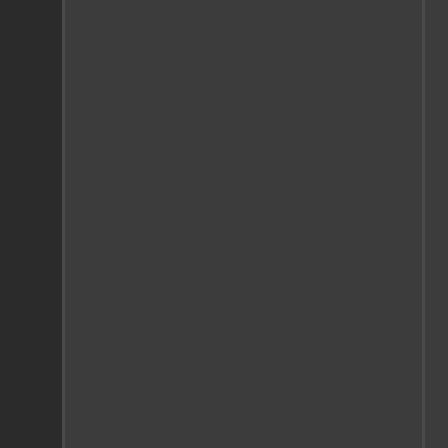increased risk for a wide variety of behaviors, such as poor living and because of toxic effects from the dr
Take action now if you or someone for another day or no changes will in order to stop their drug abuse p and stay clean. That is why the resources available to individuals These resources include numerous
Help For Drug Addiction, Polk, N
Getting help for drug addiction m yourself or for someone you care individual's life. Their drug addictio wide range of dysfunctional behav the workplace, and the broader co place people at increased risk for brought on by behaviors, such as drug addict, or because of toxic effe
Take action now if you or someone it for another day or no changes changes to stop their drug addictio own and stay clean. That is why th resources available to persons see These resources include numerous
Prescription Drug Abuse Help, P
Help for prescription drug abuse becoming dependent on the variou shown that abuse of any drug, illic is no one form of prescription drug help for prescription drug abuse, d needs of the individual.